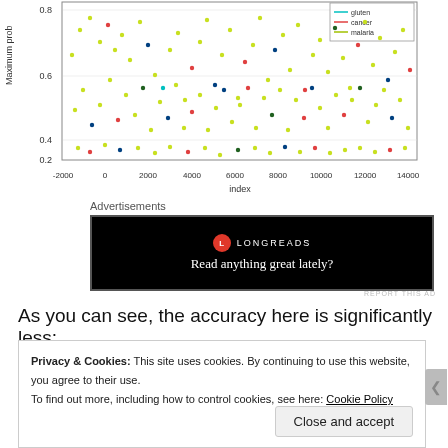[Figure (continuous-plot): Scatter plot of Maximum prob vs index, showing colored dots (yellow-green dominant, with red, blue, dark green, cyan dots) across index range -2000 to 14000, y-axis 0.2 to 0.8. Legend shows gluten (cyan), cancer (red/pink), malaria (yellow-green).]
Advertisements
[Figure (infographic): Longreads advertisement: black box with red circle L logo, LONGREADS text, tagline 'Read anything great lately?']
REPORT THIS AD
As you can see, the accuracy here is significantly less:
Privacy & Cookies: This site uses cookies. By continuing to use this website, you agree to their use.
To find out more, including how to control cookies, see here: Cookie Policy